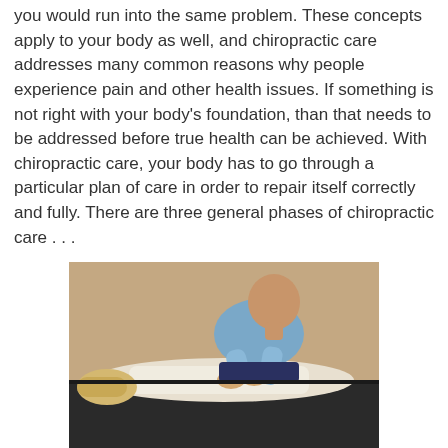you would run into the same problem. These concepts apply to your body as well, and chiropractic care addresses many common reasons why people experience pain and other health issues. If something is not right with your body's foundation, than that needs to be addressed before true health can be achieved. With chiropractic care, your body has to go through a particular plan of care in order to repair itself correctly and fully. There are three general phases of chiropractic care . . .
[Figure (photo): A chiropractor in a blue shirt performing a spinal adjustment on a patient lying face-down on a treatment table. The patient has blonde hair and is wearing a white top. The room has beige/tan walls.]
Phase 1: Relief Care
If you are in pain when you come into our Katy